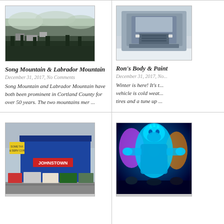[Figure (photo): Aerial/overhead winter snow scene of Song Mountain and Labrador Mountain area with buildings and trees covered in snow]
Song Mountain & Labrador Mountain
December 31, 2017, No Comments
Song Mountain and Labrador Mountain have both been prominent in Cortland County for over 50 years. The two mountains mer ...
[Figure (photo): Front view of a large truck/semi cab in winter conditions]
Ron's Body & Paint
December 31, 2017, No Comments
Winter is here! It's t... vehicle is cold weat... tires and a tune up ...
[Figure (photo): Blue commercial building with Johnstown sign and vehicles parked in front]
[Figure (photo): Glowing blue illuminated figure/statue in dark environment with colorful lighting]